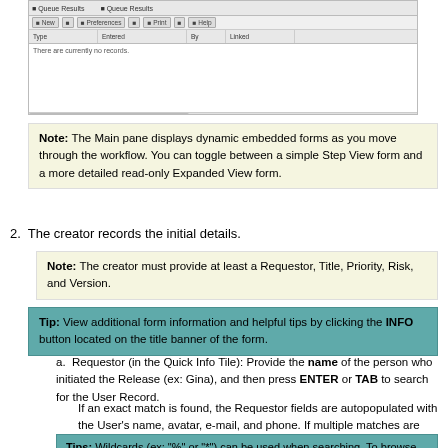[Figure (screenshot): Screenshot of a software application showing a queue/records table with toolbar buttons and empty data area with message 'There are currently no records.']
Note: The Main pane displays dynamic embedded forms as you move through the workflow. You can toggle between a simple Step View form and a more detailed read-only Expanded View form.
2. The creator records the initial details.
Note: The creator must provide at least a Requestor, Title, Priority, Risk, and Version.
Tip: View additional form information and helpful tips by clicking the INFO button located on the title banner of the form.
a. Requestor (in the Quick Info Tile): Provide the name of the person who initiated the Release (ex: Gina), and then press ENTER or TAB to search for the User Record.
If an exact match is found, the Requestor fields are autopopulated with the User's name, avatar, e-mail, and phone. If multiple matches are found (ex: multiple Users named Gina), the UserInfo Selector opens so that you can select the appropriate User.
Tips: Wildcards (ex: "%" or "*") can be used when searching. To browse for a User or add a new